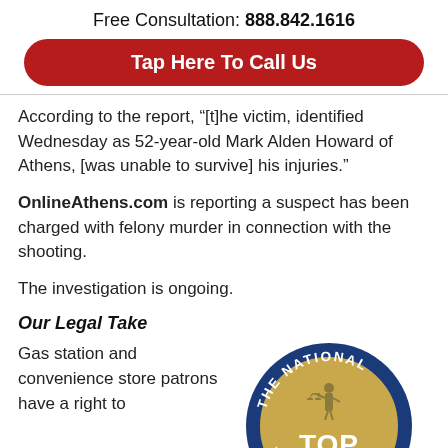Free Consultation: 888.842.1616
Tap Here To Call Us
According to the report, “[t]he victim, identified Wednesday as 52-year-old Mark Alden Howard of Athens, [was unable to survive] his injuries.”
OnlineAthens.com is reporting a suspect has been charged with felony murder in connection with the shooting.
The investigation is ongoing.
Our Legal Take
Gas station and convenience store patrons have a right to
[Figure (logo): The National Top 100 circular badge/seal with blue ring, gold center, and figure of justice]